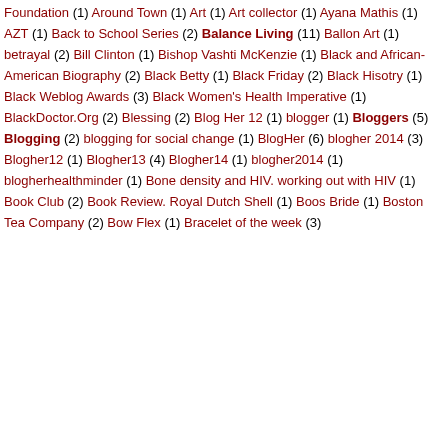Foundation (1) Around Town (1) Art (1) Art collector (1) Ayana Mathis (1) AZT (1) Back to School Series (2) Balance Living (11) Ballon Art (1) betrayal (2) Bill Clinton (1) Bishop Vashti McKenzie (1) Black and African- American Biography (2) Black Betty (1) Black Friday (2) Black Hisotry (1) Black Weblog Awards (3) Black Women's Health Imperative (1) BlackDoctor.Org (2) Blessing (2) Blog Her 12 (1) blogger (1) Bloggers (5) Blogging (2) blogging for social change (1) BlogHer (6) blogher 2014 (3) Blogher12 (1) Blogher13 (4) Blogher14 (1) blogher2014 (1) blogherhealthminder (1) Bone density and HIV. working out with HIV (1) Book Club (2) Book Review. Royal Dutch Shell (1) Boos Bride (1) Boston Tea Company (2) Bow Flex (1) Bracelet of the week (3)
[Figure (photo): Photo of a book cover showing 'a mercy' novel with misty tropical landscape background]
House she discovered Jones manuscript "that no novel about black women could Corregidora is the perfect pick for Wome
Back to back, we will tackle Toni Morriso writing from another author by and abou book club. At one time we had 111 mem discussion will run the entire month but w require more time for reading.
This is where you join RLTReads. But s